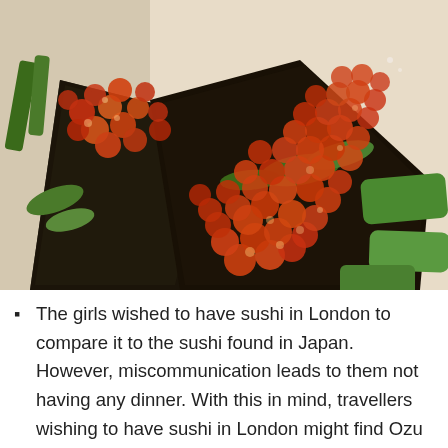[Figure (photo): Close-up photograph of two pieces of sushi topped with salmon roe (ikura), placed on dark nori seaweed, surrounded by green vegetables including cucumber slices and leafy greens, on a white plate.]
The girls wished to have sushi in London to compare it to the sushi found in Japan. However, miscommunication leads to them not having any dinner. With this in mind, travellers wishing to have sushi in London might find Ozu to be a pleasant surprise. It's not a conveyor-belt sushi place, but it does offer some excellent fare.